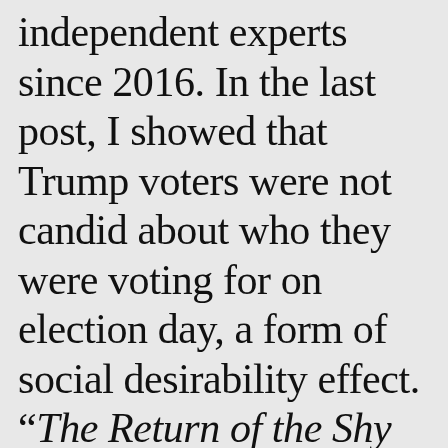independent experts since 2016. In the last post, I showed that Trump voters were not candid about who they were voting for on election day, a form of social desirability effect. “The Return of the Shy Voter?”